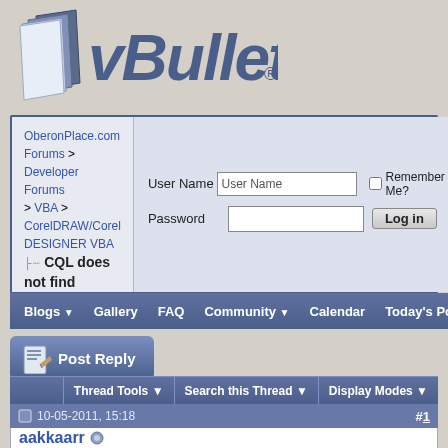[Figure (logo): vBulletin logo with blue 3D book icon and stylized italic vBulletin text]
OberonPlace.com Forums > Developer Forums > VBA > CorelDRAW/Corel DESIGNER VBA
...CQL does not find shapes in PowerClip
User Name | Password | Remember Me? | Log in
Blogs | Gallery | FAQ | Community | Calendar | Today's Posts | Search
[Figure (screenshot): Post Reply button with pencil/paper icon]
|  | Thread Tools | Search this Thread | Display Modes |
| --- | --- | --- | --- |
10-05-2011, 15:18	#1
aakkaarr
Senior Member
Join Date: Jan 2009
Posts: 163
CQL does not find shapes in PowerClip